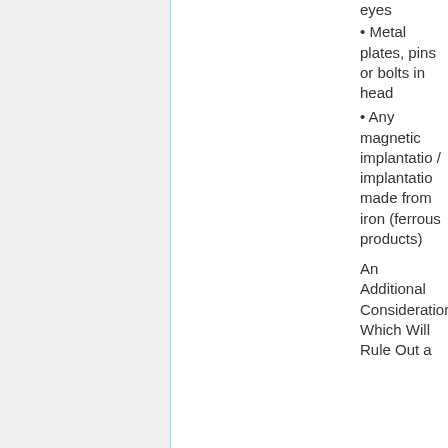eyes
• Metal plates, pins or bolts in head
• Any magnetic implantation / implantation made from iron (ferrous products)
An Additional Consideration Which Will Rule Out a